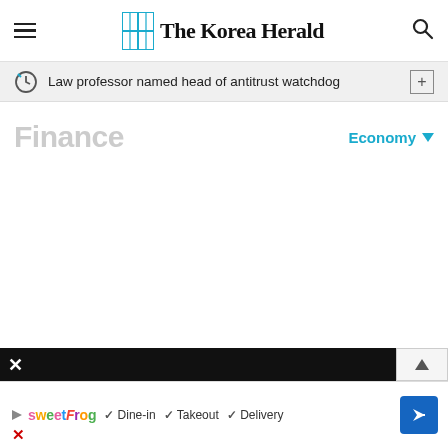The Korea Herald
Law professor named head of antitrust watchdog
Finance
Economy
[Figure (screenshot): Advertisement banner for sweetFrog restaurant showing dine-in, takeout, and delivery options with a navigation icon]
× Dine-in ✓ Takeout ✓ Delivery ×